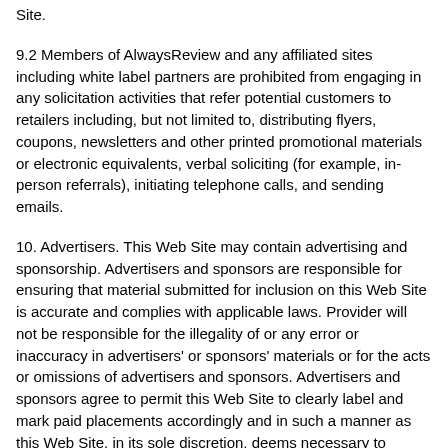Site.
9.2 Members of AlwaysReview and any affiliated sites including white label partners are prohibited from engaging in any solicitation activities that refer potential customers to retailers including, but not limited to, distributing flyers, coupons, newsletters and other printed promotional materials or electronic equivalents, verbal soliciting (for example, in-person referrals), initiating telephone calls, and sending emails.
10. Advertisers. This Web Site may contain advertising and sponsorship. Advertisers and sponsors are responsible for ensuring that material submitted for inclusion on this Web Site is accurate and complies with applicable laws. Provider will not be responsible for the illegality of or any error or inaccuracy in advertisers' or sponsors' materials or for the acts or omissions of advertisers and sponsors. Advertisers and sponsors agree to permit this Web Site to clearly label and mark paid placements accordingly and in such a manner as this Web Site, in its sole discretion, deems necessary to